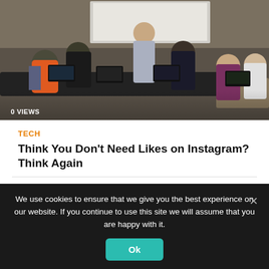[Figure (photo): Students sitting and working on laptops around a table in a classroom or library setting, an adult standing at the back near a projector screen.]
0 VIEWS
TECH
Think You Don't Need Likes on Instagram? Think Again
0 COMMENTS
We use cookies to ensure that we give you the best experience on our website. If you continue to use this site we will assume that you are happy with it.
Ok